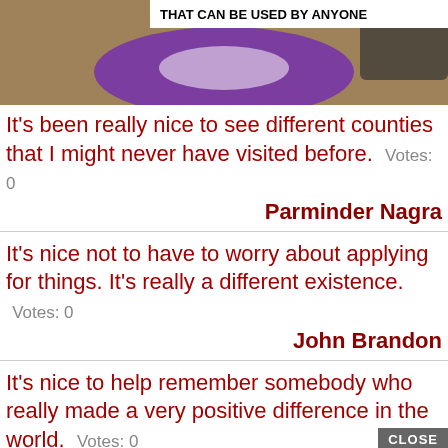[Figure (screenshot): Top partial image showing a purple donut-shaped object on a table with text overlay 'THAT CAN BE USED BY ANYONE']
It's been really nice to see different counties that I might never have visited before.  Votes: 0
Parminder Nagra
It's nice not to have to worry about applying for things. It's really a different existence.  Votes: 0
John Brandon
It's nice to help remember somebody who really made a very positive difference in the world.  Votes: 0
[Figure (screenshot): Advertisement banner: '37 HOME AND KITCHEN ITEMS EVERYONE SHOULD OWN' with CLOSE button and yellow background]
y Hart
Kayleigh was right. Without the pills, you really do feel nothing.And nothing can be nice.